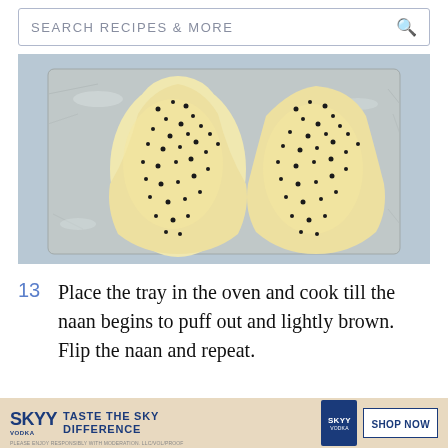SEARCH RECIPES & MORE
[Figure (photo): Two raw naan breads sprinkled with black sesame seeds on a foil-lined baking tray, viewed from above on a light blue surface.]
13  Place the tray in the oven and cook till the naan begins to puff out and lightly brown. Flip the naan and repeat.
[Figure (photo): Partial view of a dark baking tray with food, partially obscured by an advertisement overlay.]
[Figure (other): SKYY Vodka advertisement banner: TASTE THE SKYY DIFFERENCE with SHOP NOW button.]